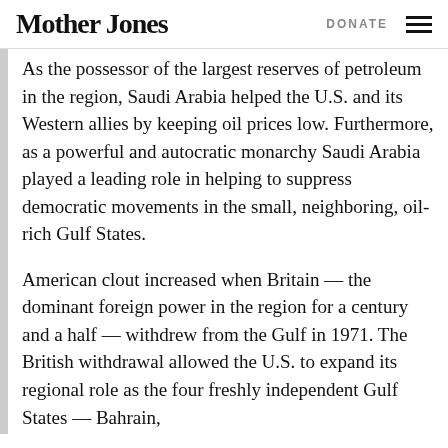Mother Jones   DONATE
As the possessor of the largest reserves of petroleum in the region, Saudi Arabia helped the U.S. and its Western allies by keeping oil prices low. Furthermore, as a powerful and autocratic monarchy Saudi Arabia played a leading role in helping to suppress democratic movements in the small, neighboring, oil-rich Gulf States.
American clout increased when Britain — the dominant foreign power in the region for a century and a half — withdrew from the Gulf in 1971. The British withdrawal allowed the U.S. to expand its regional role as the four freshly independent Gulf States — Bahrain,